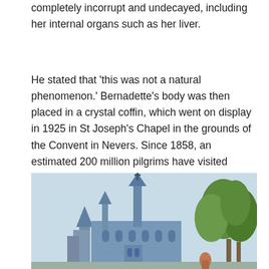completely incorrupt and undecayed, including her internal organs such as her liver.
He stated that 'this was not a natural phenomenon.' Bernadette's body was then placed in a crystal coffin, which went on display in 1925 in St Joseph's Chapel in the grounds of the Convent in Nevers. Since 1858, an estimated 200 million pilgrims have visited Lourdes. There have been around 7,000 claims of miraculous cures, of which 70 have been recognised by the Church after the most rigorous investigation.
[Figure (photo): Photograph of the Sanctuary of Our Lady of Lourdes, showing the gothic-style basilica with tall spire and towers, with green trees visible on the right side and a light blue sky in the background.]